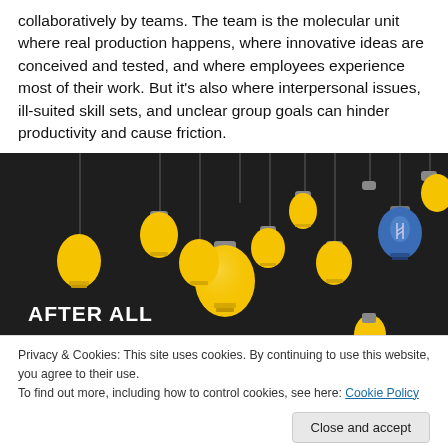collaboratively by teams. The team is the molecular unit where real production happens, where innovative ideas are conceived and tested, and where employees experience most of their work. But it's also where interpersonal issues, ill-suited skill sets, and unclear group goals can hinder productivity and cause friction.
[Figure (illustration): Dark background image with multiple hanging light bulbs — mostly yellow/amber, one blue/white — suspended from vertical lines. Bold white text 'AFTER ALL' in lower left corner.]
Privacy & Cookies: This site uses cookies. By continuing to use this website, you agree to their use.
To find out more, including how to control cookies, see here: Cookie Policy
Close and accept